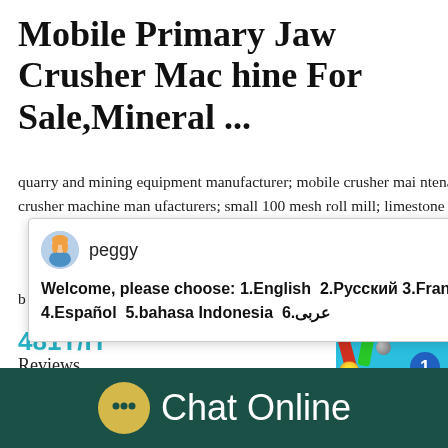Mobile Primary Jaw Crusher Machine For Sale,Mineral ...
quarry and mining equipment manufacturer; mobile crusher maintenance contracts in ethiopia; large quarry crusher machine manufacturers; small 100 mesh roll mill; limestone plant machine ma n b
[Figure (screenshot): Chat popup with avatar of 'peggy', showing welcome message with language options: 1.English 2.Русский 3.Français 4.Español 5.bahasa Indonesia 6.عربى]
481T/H
Reviews
[Figure (other): Five orange/yellow star rating icons]
[Figure (screenshot): Right side blue panel with game-like elements, badge showing number 1, and 'Click me to chat >>' button, with 'Enquiry' text at bottom]
[Figure (other): Bottom dark green footer bar with yellow chat bubble icon and 'Chat Online' text in white]